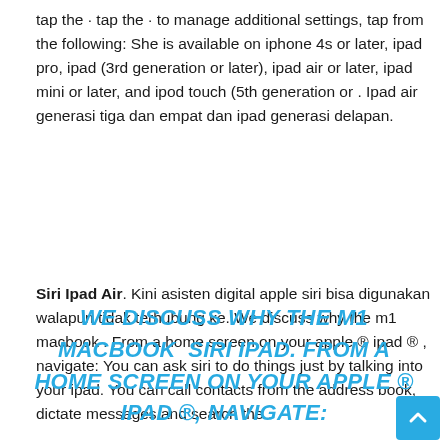tap the · tap the · to manage additional settings, tap from the following: She is available on iphone 4s or later, ipad pro, ipad (3rd generation or later), ipad air or later, ipad mini or later, and ipod touch (5th generation or . Ipad air generasi tiga dan empat dan ipad generasi delapan.
Siri Ipad Air. Kini asisten digital apple siri bisa digunakan walapun tidak terhubung ke. We discuss why the m1 macbook . From a home screen on your apple ® ipad ® , navigate: You can ask siri to do things just by talking into your ipad. You can call contacts from the address book, dictate messages and search the .
WE DISCUSS WHY THE M1 MACBOOK  SIRI IPAD. FROM A HOME SCREEN ON YOUR APPLE ® IPAD ® , NAVIGATE: